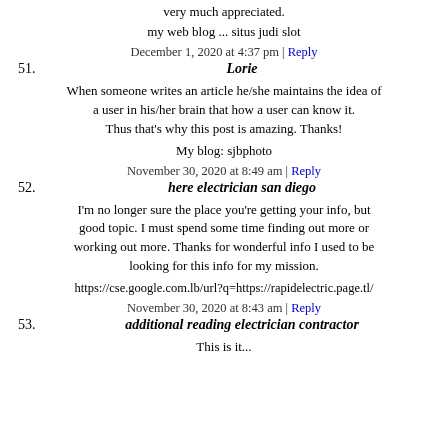very much appreciated.
my web blog ... situs judi slot
December 1, 2020 at 4:37 pm | Reply
51. Lorie
When someone writes an article he/she maintains the idea of a user in his/her brain that how a user can know it. Thus that's why this post is amazing. Thanks!
My blog: sjbphoto
November 30, 2020 at 8:49 am | Reply
52. here electrician san diego
I'm no longer sure the place you're getting your info, but good topic. I must spend some time finding out more or working out more. Thanks for wonderful info I used to be looking for this info for my mission.
https://cse.google.com.lb/url?q=https://rapidelectric.page.tl/
November 30, 2020 at 8:43 am | Reply
53. additional reading electrician contractor
This is it...